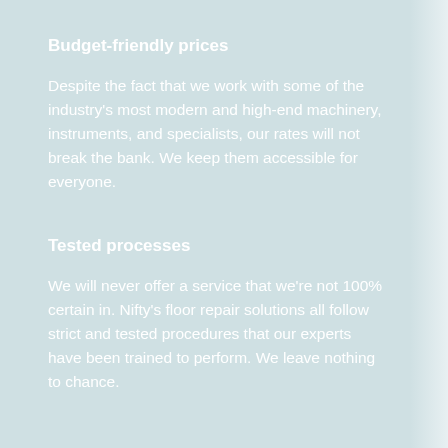Budget-friendly prices
Despite the fact that we work with some of the industry's most modern and high-end machinery, instruments, and specialists, our rates will not break the bank. We keep them accessible for everyone.
Tested processes
We will never offer a service that we're not 100% certain in. Nifty's floor repair solutions all follow strict and tested procedures that our experts have been trained to perform. We leave nothing to chance.